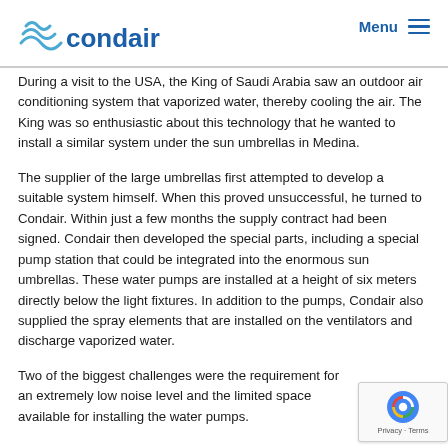condair | Menu
During a visit to the USA, the King of Saudi Arabia saw an outdoor air conditioning system that vaporized water, thereby cooling the air. The King was so enthusiastic about this technology that he wanted to install a similar system under the sun umbrellas in Medina.
The supplier of the large umbrellas first attempted to develop a suitable system himself. When this proved unsuccessful, he turned to Condair. Within just a few months the supply contract had been signed. Condair then developed the special parts, including a special pump station that could be integrated into the enormous sun umbrellas. These water pumps are installed at a height of six meters directly below the light fixtures. In addition to the pumps, Condair also supplied the spray elements that are installed on the ventilators and discharge vaporized water.
Two of the biggest challenges were the requirement for an extremely low noise level and the limited space available for installing the water pumps.